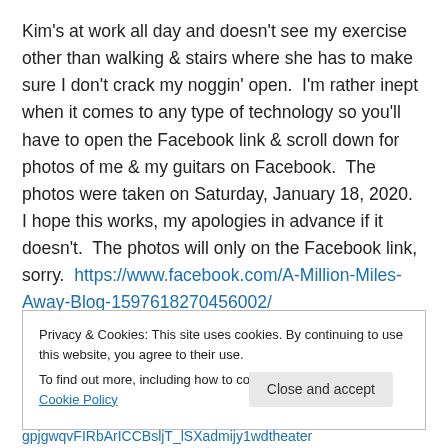Kim's at work all day and doesn't see my exercise other than walking & stairs where she has to make sure I don't crack my noggin' open.  I'm rather inept when it comes to any type of technology so you'll have to open the Facebook link & scroll down for photos of me & my guitars on Facebook.  The photos were taken on Saturday, January 18, 2020.  I hope this works, my apologies in advance if it doesn't.  The photos will only on the Facebook link, sorry.  https://www.facebook.com/A-Million-Miles-Away-Blog-1597618270456002/
Privacy & Cookies: This site uses cookies. By continuing to use this website, you agree to their use.
To find out more, including how to control cookies, see here: Cookie Policy
Close and accept
gpjgwqvFIRbArICCBsljT_lSXadmijy1wdtheater